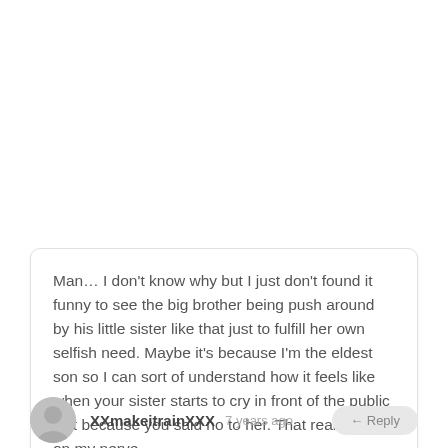Man... I don't know why but I just don't found it funny to see the big brother being push around by his little sister like that just to fulfill her own selfish need. Maybe it's because I'm the eldest son so I can sort of understand how it feels like when your sister starts to cry in front of the public just because you said no to her. That really gets on my nerve...
XXmakeitrainXXX   7 years ago   ← Reply